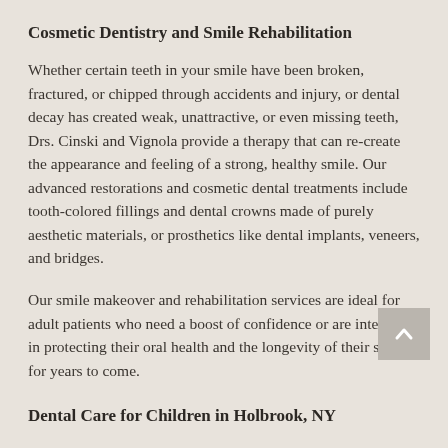Cosmetic Dentistry and Smile Rehabilitation
Whether certain teeth in your smile have been broken, fractured, or chipped through accidents and injury, or dental decay has created weak, unattractive, or even missing teeth, Drs. Cinski and Vignola provide a therapy that can re-create the appearance and feeling of a strong, healthy smile. Our advanced restorations and cosmetic dental treatments include tooth-colored fillings and dental crowns made of purely aesthetic materials, or prosthetics like dental implants, veneers, and bridges.
Our smile makeover and rehabilitation services are ideal for adult patients who need a boost of confidence or are interested in protecting their oral health and the longevity of their smiles for years to come.
Dental Care for Children in Holbrook, NY